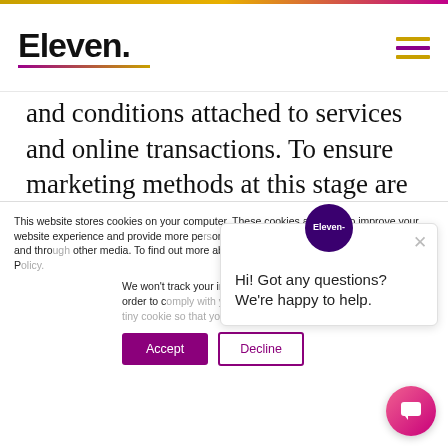Eleven.
and conditions attached to services and online transactions. To ensure marketing methods at this stage are welcome, present independent tick box options to your users so that they can agree to
This website stores cookies on your computer. These cookies are used to improve your website experience and provide more personalized services to you, both on this website and through other media. To find out more about the cookies we use, see our Privacy P…
We won't track your information when you visit our site. But in order to comply with your preferences, we'll have to use just one tiny cookie so that you're not asked to make this choice again.
Hi! Got any questions? We're happy to help.